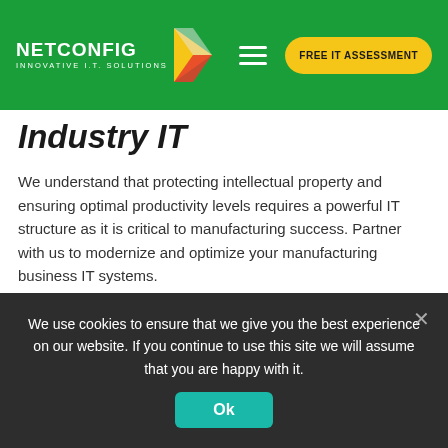NETCONFIG INNOVATIVE I.T. SOLUTIONS — FREE IT ASSESSMENT
Industry IT
We understand that protecting intellectual property and ensuring optimal productivity levels requires a powerful IT structure as it is critical to manufacturing success. Partner with us to modernize and optimize your manufacturing business IT systems.
[Figure (photo): Light gray image placeholder rectangle]
We use cookies to ensure that we give you the best experience on our website. If you continue to use this site we will assume that you are happy with it.